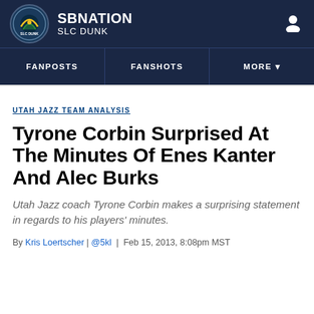SB NATION / SLC DUNK
FANPOSTS | FANSHOTS | MORE
UTAH JAZZ TEAM ANALYSIS
Tyrone Corbin Surprised At The Minutes Of Enes Kanter And Alec Burks
Utah Jazz coach Tyrone Corbin makes a surprising statement in regards to his players' minutes.
By Kris Loertscher | @5kl | Feb 15, 2013, 8:08pm MST